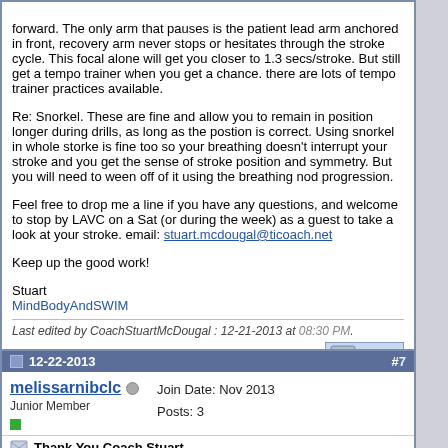forward. The only arm that pauses is the patient lead arm anchored in front, recovery arm never stops or hesitates through the stroke cycle. This focal alone will get you closer to 1.3 secs/stroke. But still get a tempo trainer when you get a chance. there are lots of tempo trainer practices available.
Re: Snorkel. These are fine and allow you to remain in position longer during drills, as long as the postion is correct. Using snorkel in whole storke is fine too so your breathing doesn't interrupt your stroke and you get the sense of stroke position and symmetry. But you will need to ween off of it using the breathing nod progression.
Feel free to drop me a line if you have any questions, and welcome to stop by LAVC on a Sat (or during the week) as a guest to take a look at your stroke. email: stuart.mcdougal@ticoach.net
Keep up the good work!
Stuart
MindBodyAndSWIM
Last edited by CoachStuartMcDougal : 12-21-2013 at 08:30 PM.
12-22-2013  #7
melissarnibclc  Junior Member  Join Date: Nov 2013  Posts: 3
Thank You Coach Stuart